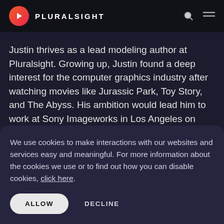PLURALSIGHT
Justin thrives as a lead modeling author at Pluralsight. Growing up, Justin found a deep interest for the computer graphics industry after watching movies like Jurassic Park, Toy Story, and The Abyss. His ambition would lead him to work at Sony Imageworks in Los Angeles on movies like Monster House and Surf's Up. Justin has also had numerous articles, tutorials, and
We use cookies to make interactions with our websites and services easy and meaningful. For more information about the cookies we use or to find out how you can disable cookies, click here.
ALLOW   DECLINE